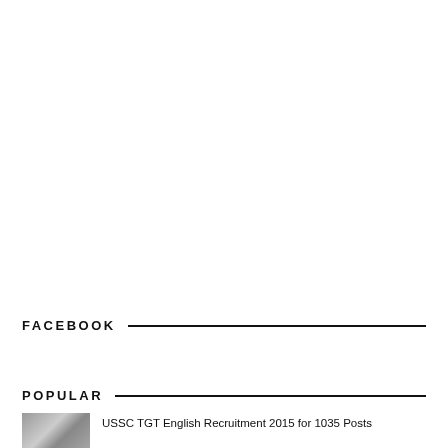FACEBOOK
POPULAR
USSC TGT English Recruitment 2015 for 1035 Posts